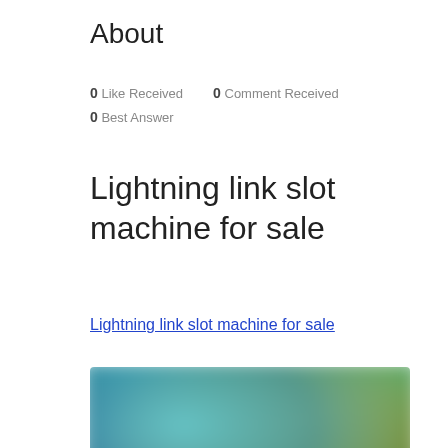About
0 Like Received   0 Comment Received
0 Best Answer
Lightning link slot machine for sale
Lightning link slot machine for sale
[Figure (screenshot): A blurred screenshot of what appears to be a video streaming interface or game lobby with colorful characters and dark background, with a circular button with three dots in the bottom right corner.]